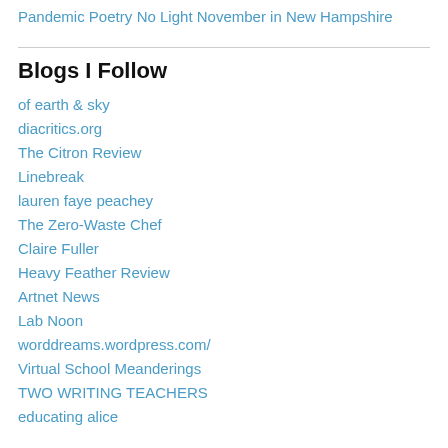Pandemic Poetry
No Light November in New Hampshire
Blogs I Follow
of earth & sky
diacritics.org
The Citron Review
Linebreak
lauren faye peachey
The Zero-Waste Chef
Claire Fuller
Heavy Feather Review
Artnet News
Lab Noon
worddreams.wordpress.com/
Virtual School Meanderings
TWO WRITING TEACHERS
educating alice